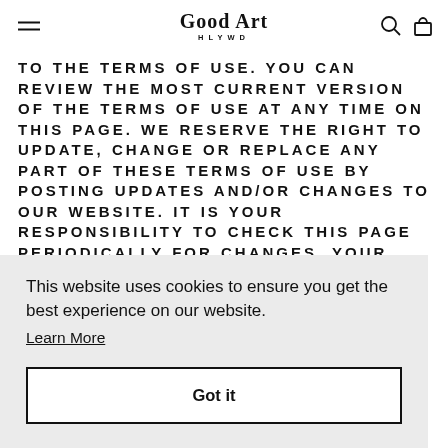Good Art HLYWD
TO THE TERMS OF USE. YOU CAN REVIEW THE MOST CURRENT VERSION OF THE TERMS OF USE AT ANY TIME ON THIS PAGE. WE RESERVE THE RIGHT TO UPDATE, CHANGE OR REPLACE ANY PART OF THESE TERMS OF USE BY POSTING UPDATES AND/OR CHANGES TO OUR WEBSITE. IT IS YOUR RESPONSIBILITY TO CHECK THIS PAGE PERIODICALLY FOR CHANGES. YOUR CONTINUED USE OF OR ACCESS TO THE WEBSITE FOLLOWING
This website uses cookies to ensure you get the best experience on our website. Learn More Got it